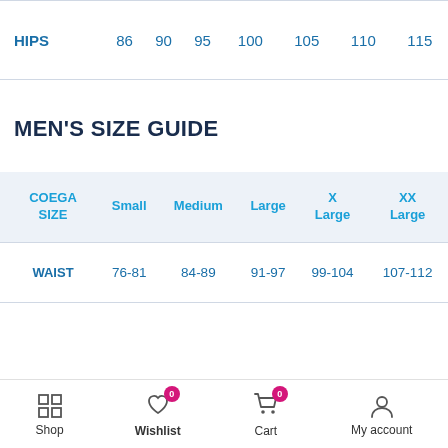| HIPS | 86 | 90 | 95 | 100 | 105 | 110 | 115 |
| --- | --- | --- | --- | --- | --- | --- | --- |
MEN'S SIZE GUIDE
| COEGA SIZE | Small | Medium | Large | X Large | XX Large |
| --- | --- | --- | --- | --- | --- |
| WAIST | 76-81 | 84-89 | 91-97 | 99-104 | 107-112 |
Shop | Wishlist 0 | Cart 0 | My account